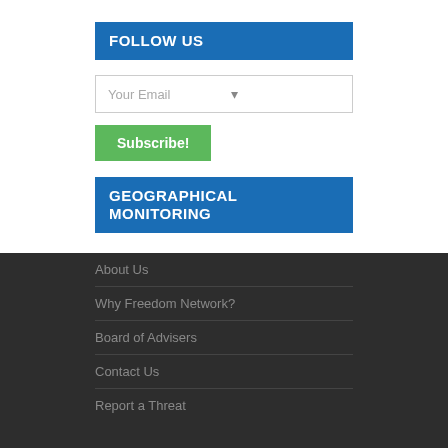FOLLOW US
[Figure (screenshot): Email input field with placeholder text 'Your Email' and a small arrow icon on the right]
Subscribe!
GEOGRAPHICAL MONITORING
About Us
Why Freedom Network?
Board of Advisers
Contact Us
Report a Threat